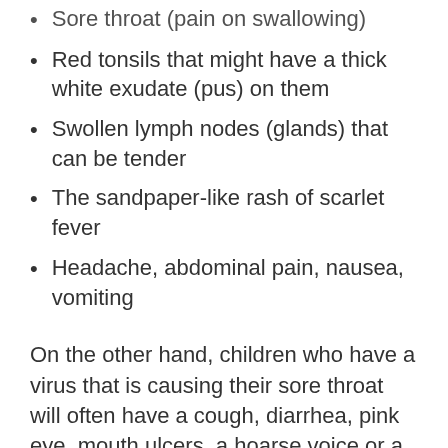Sore throat (pain on swallowing)
Red tonsils that might have a thick white exudate (pus) on them
Swollen lymph nodes (glands) that can be tender
The sandpaper-like rash of scarlet fever
Headache, abdominal pain, nausea, vomiting
On the other hand, children who have a virus that is causing their sore throat will often have a cough, diarrhea, pink eye, mouth ulcers, a hoarse voice or a runny nose.